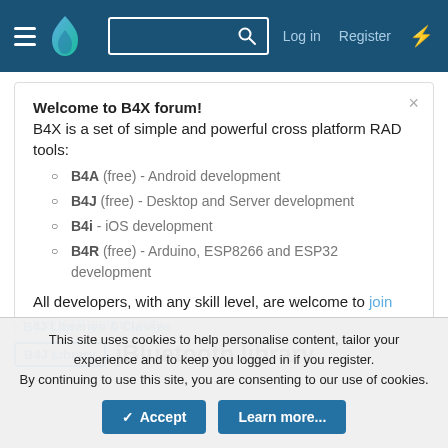B4X Forum navigation bar with hamburger menu, flame logo, search box, Log in, Register, bolt icon
Welcome to B4X forum!
B4X is a set of simple and powerful cross platform RAD tools:
B4A (free) - Android development
B4J (free) - Desktop and Server development
B4i - iOS development
B4R (free) - Arduino, ESP8266 and ESP32 development
All developers, with any skill level, are welcome to join the B4X community.
< B4J Libraries & Classes
B4J Library  jBluetooth library
This site uses cookies to help personalise content, tailor your experience and to keep you logged in if you register.
By continuing to use this site, you are consenting to our use of cookies.